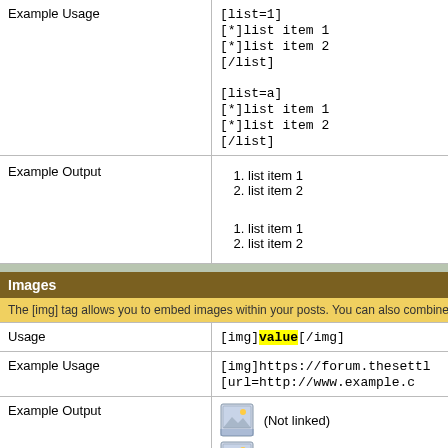|  |  |
| --- | --- |
| Example Usage | [list=1]
[*]list item 1
[*]list item 2
[/list]

[list=a]
[*]list item 1
[*]list item 2
[/list] |
| Example Output | 1. list item 1
2. list item 2

1. list item 1
2. list item 2 |
Images
The [img] tag allows you to embed images within your posts. You can also combine this tag
|  |  |
| --- | --- |
| Usage | [img]value[/img] |
| Example Usage | [img]https://forum.thesettl...
[url=http://www.example.c... |
| Example Output | (Not linked) |